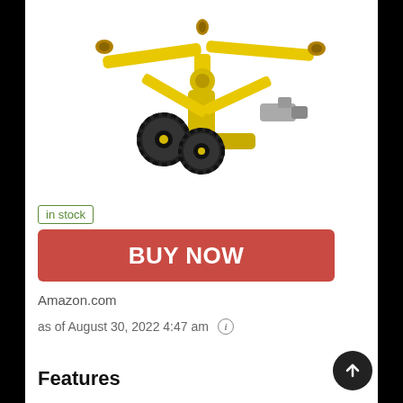[Figure (photo): Yellow rotary sprinkler with wheels and brass nozzles on a white background]
in stock
BUY NOW
Amazon.com
as of August 30, 2022 4:47 am ⓘ
Features